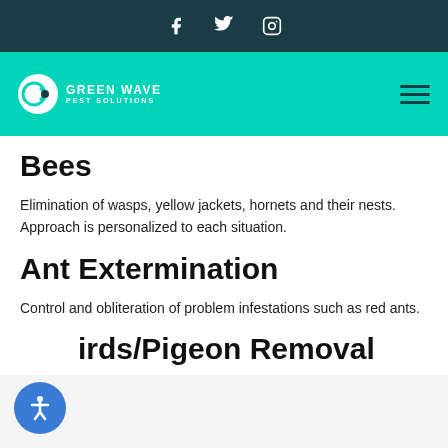Social media icons: Facebook, Twitter, Instagram
[Figure (logo): Green Wave Pest Solutions logo with teal circular icon and company name in white text on teal navigation bar, with hamburger menu icon on right]
Bees
Elimination of wasps, yellow jackets, hornets and their nests. Approach is personalized to each situation.
Ant Extermination
Control and obliteration of problem infestations such as red ants.
Birds/Pigeon Removal